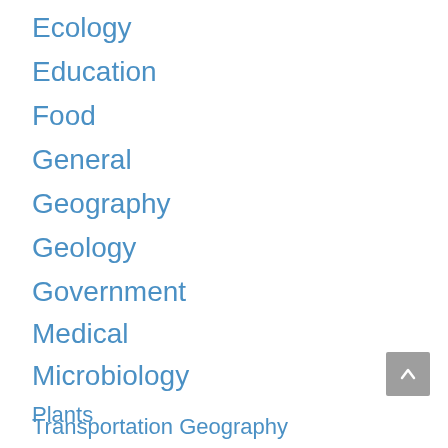Ecology
Education
Food
General
Geography
Geology
Government
Medical
Microbiology
Plants
Transportation Geography